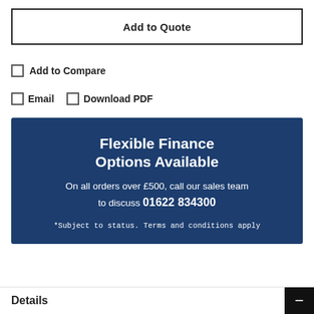Add to Quote
Add to Compare
Email   Download PDF
[Figure (infographic): Dark navy blue promotional banner for Flexible Finance Options. Title: 'Flexible Finance Options Available'. Subtitle: 'On all orders over £500, call our sales team to discuss 01622 834300'. Footer note: '*Subject to status. Terms and conditions apply']
Details